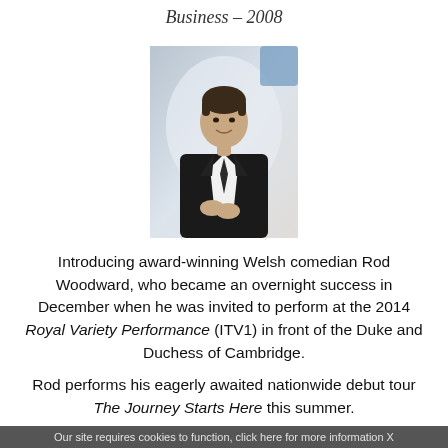Business – 2008
[Figure (photo): Portrait photo of Rod Woodward, a man in a dark suit with white shirt, smiling, standing against a light background]
Introducing award-winning Welsh comedian Rod Woodward, who became an overnight success in December when he was invited to perform at the 2014 Royal Variety Performance (ITV1) in front of the Duke and Duchess of Cambridge.
Rod performs his eagerly awaited nationwide debut tour The Journey Starts Here this summer.
Our site requires cookies to function, click here for more information X